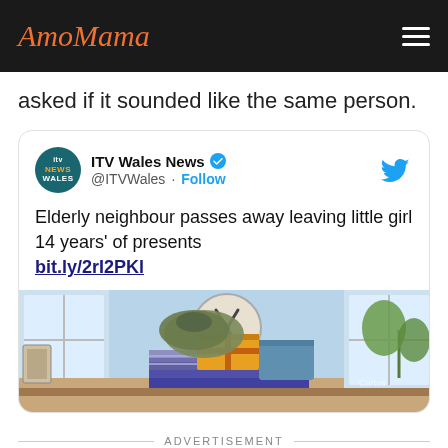AmoMama
asked if it sounded like the same person.
[Figure (screenshot): Embedded tweet from ITV Wales News (@ITVWales) with text: 'Elderly neighbour passes away leaving little girl 14 years' of presents bit.ly/2rI2PKl' and a photo of wrapped presents on a surface in a room with windows and a clock.]
ADVERTISEMENT